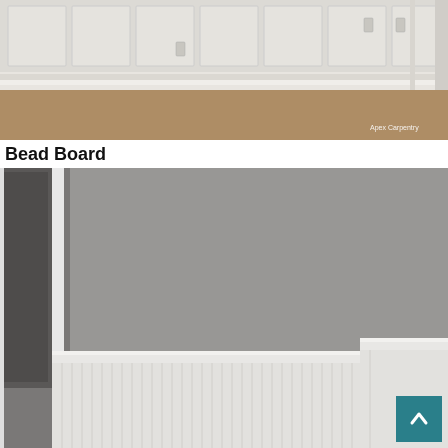[Figure (photo): Interior room with white wall panel wainscoting (board and batten style) along a beige carpeted room. White trim and molding. Watermark reads 'Apex Carpentry'.]
Bead Board
[Figure (photo): Interior room showing lower bead board wainscoting in white with a gray painted wall above. A white framed mirror or door is visible on the left. A teal/dark cyan scroll-to-top button is visible in the bottom right corner.]